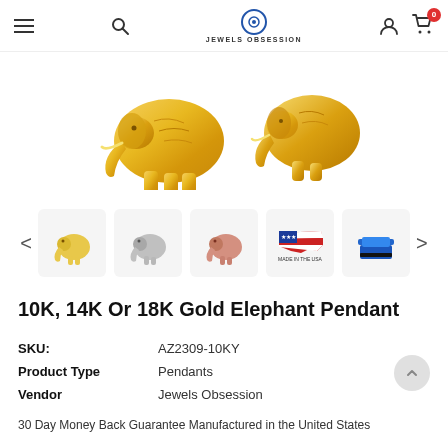JEWELS OBSESSION
[Figure (photo): Close-up of gold elephant pendants, showing detailed gold metallic finish]
[Figure (photo): Thumbnail row showing: yellow gold elephant, white/silver elephant, rose gold elephant, Made in the USA flag map, and blue jewelry box. Navigation arrows on sides.]
10K, 14K Or 18K Gold Elephant Pendant
| SKU: | AZ2309-10KY |
| Product Type | Pendants |
| Vendor | Jewels Obsession |
30 Day Money Back Guarantee Manufactured in the United States